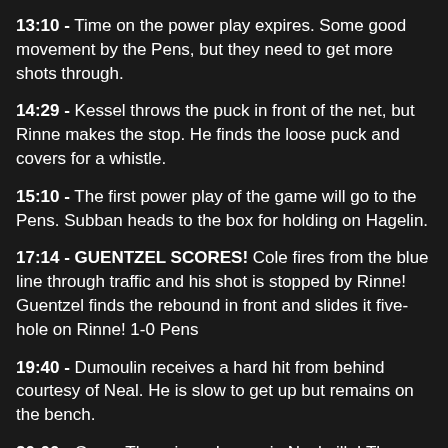13:10 - Time on the power play expires. Some good movement by the Pens, but they need to get more shots through.
14:29 - Kessel throws the puck in front of the net, but Rinne makes the stop. He finds the loose puck and covers for a whistle.
15:10 - The first power play of the game will go to the Pens. Subban heads to the box for holding on Hagelin.
17:14 - GUENTZEL SCORES! Cole fires from the blue line through traffic and his shot is stopped by Rinne! Guentzel finds the rebound in front and slides it five-hole on Rinne! 1-0 Pens
19:40 - Dumoulin receives a hard hit from behind courtesy of Neal. He is slow to get up but remains on the bench.
20:00 - Game Three is underway in Nashville! The Pens need to come out with speed, take control, and pressure